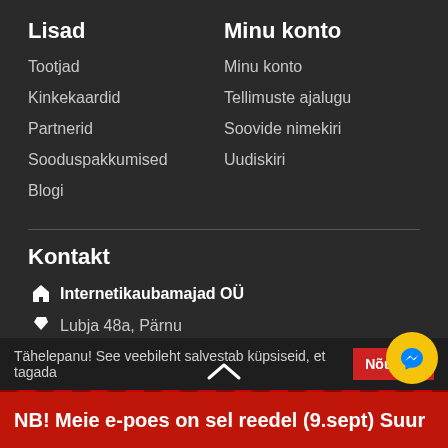Lisad
Tootjad
Kinkekaardid
Partnerid
Sooduspakkumised
Blogi
Minu konto
Minu konto
Tellimuste ajalugu
Soovide nimekiri
Uudiskiri
Kontakt
Internetikaubamajad OÜ
Lubja 48a, Pärnu
560 45 000
info@profispot.ee
Tähelepanu! See veebileht salvestab küpsiseid, et tagada
Nõustun
NB! Meie e-poes on sel reedel (9.sept) Suur